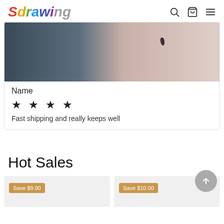Sdrawing
[Figure (photo): Close-up photo of an arm with a small teardrop tattoo against a dark quilted fabric background]
Name
★ ★ ★ ★
Fast shipping and really keeps well
Hot Sales
[Figure (other): Product card with Save $9.00 badge on gray background]
[Figure (other): Product card with Save $10.00 badge on gray background]